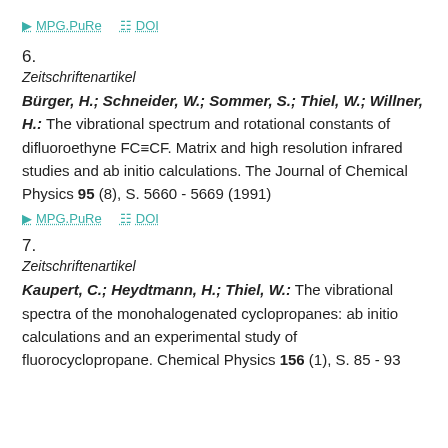MPG.PuRe  DOI (top link row)
6.
Zeitschriftenartikel
Bürger, H.; Schneider, W.; Sommer, S.; Thiel, W.; Willner, H.: The vibrational spectrum and rotational constants of difluoroethyne FC≡CF. Matrix and high resolution infrared studies and ab initio calculations. The Journal of Chemical Physics 95 (8), S. 5660 - 5669 (1991)
MPG.PuRe  DOI (entry 6 link row)
7.
Zeitschriftenartikel
Kaupert, C.; Heydtmann, H.; Thiel, W.: The vibrational spectra of the monohalogenated cyclopropanes: ab initio calculations and an experimental study of fluorocyclopropane. Chemical Physics 156 (1), S. 85 - 93